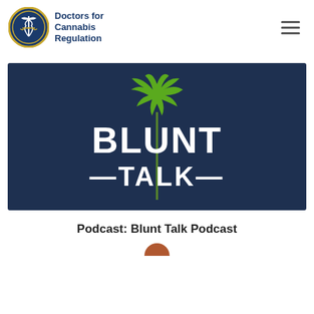[Figure (logo): Doctors for Cannabis Regulation logo: circular blue badge with caduceus and scales icon, next to bold blue text 'Doctors for Cannabis Regulation']
[Figure (illustration): Blunt Talk Podcast banner: dark navy blue background with a large green cannabis leaf at top center, bold white text 'BLUNT TALK' with decorative dashes on either side of 'TALK']
Podcast: Blunt Talk Podcast